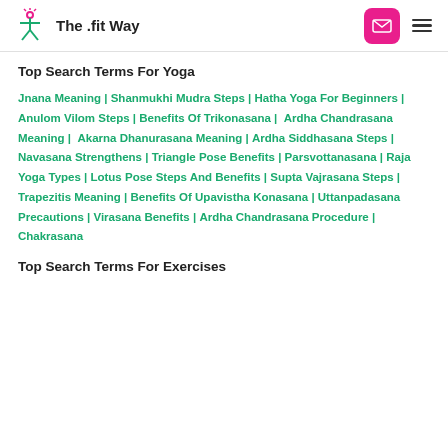The .fit Way
Top Search Terms For Yoga
Jnana Meaning | Shanmukhi Mudra Steps | Hatha Yoga For Beginners | Anulom Vilom Steps | Benefits Of Trikonasana |  Ardha Chandrasana Meaning |  Akarna Dhanurasana Meaning | Ardha Siddhasana Steps | Navasana Strengthens | Triangle Pose Benefits | Parsvottanasana | Raja Yoga Types | Lotus Pose Steps And Benefits | Supta Vajrasana Steps | Trapezitis Meaning | Benefits Of Upavistha Konasana | Uttanpadasana Precautions | Virasana Benefits | Ardha Chandrasana Procedure | Chakrasana
Top Search Terms For Exercises